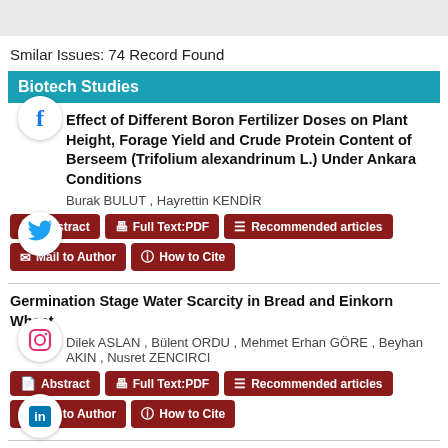Smilar Issues: 74 Record Found
Biotech Studies
Effect of Different Boron Fertilizer Doses on Plant Height, Forage Yield and Crude Protein Content of Berseem (Trifolium alexandrinum L.) Under Ankara Conditions
Burak BULUT , Hayrettin KENDİR
Abstract | Full Text:PDF | Recommended articles | Mail to Author | How to Cite
Germination Stage Water Scarcity in Bread and Einkorn Wheat
Dilek ASLAN , Bülent ORDU , Mehmet Erhan GÖRE , Beyhan AKIN , Nusret ZENCIRCI
Abstract | Full Text:PDF | Recommended articles | Mail to Author | How to Cite